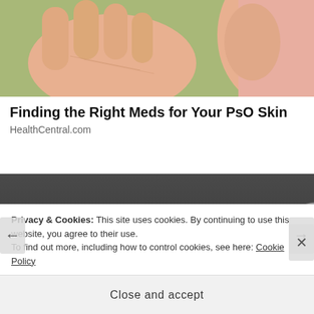[Figure (photo): Close-up of two hands touching or pressing together against a green background, showing skin detail]
Finding the Right Meds for Your PsO Skin
HealthCentral.com
[Figure (photo): Close-up of a gray medical or beauty device (possibly a lotion dispenser or ultrasound head) resting on a dark surface]
Privacy & Cookies: This site uses cookies. By continuing to use this website, you agree to their use.
To find out more, including how to control cookies, see here: Cookie Policy
Close and accept